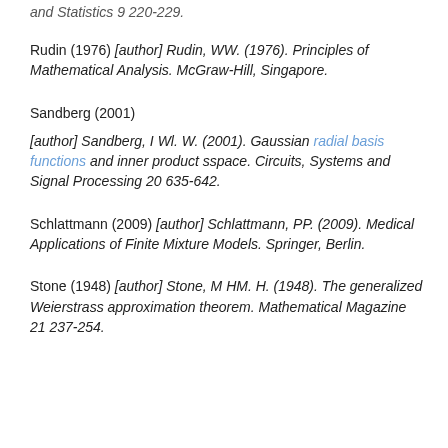and Statistics 9 220-229.
Rudin (1976) [author] Rudin, WW. (1976). Principles of Mathematical Analysis. McGraw-Hill, Singapore.
Sandberg (2001)
[author] Sandberg, I Wl. W. (2001). Gaussian radial basis functions and inner product sspace. Circuits, Systems and Signal Processing 20 635-642.
Schlattmann (2009) [author] Schlattmann, PP. (2009). Medical Applications of Finite Mixture Models. Springer, Berlin.
Stone (1948) [author] Stone, M HM. H. (1948). The generalized Weierstrass approximation theorem. Mathematical Magazine 21 237-254.